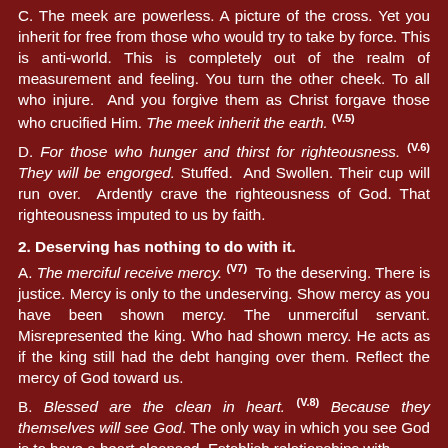C. The meek are powerless. A picture of the cross. Yet you inherit for free from those who would try to take by force. This is anti-world. This is completely out of the realm of measurement and feeling. You turn the other cheek. To all who injure. And you forgive them as Christ forgave those who crucified Him. The meek inherit the earth. (V.5)
D. For those who hunger and thirst for righteousness. (V.6) They will be engorged. Stuffed. And Swollen. Their cup will run over. Ardently crave the righteousness of God. That righteousness imputed to us by faith.
2. Deserving has nothing to do with it.
A. The merciful receive mercy. (V7) To the deserving. There is justice. Mercy is only to the undeserving. Show mercy as you have been shown mercy. The unmerciful servant. Misrepresented the king. Who had shown mercy. He acts as if the king still had the debt hanging over them. Reflect the mercy of God toward us.
B. Blessed are the clean in heart. (V.8) Because they themselves will see God. The only way in which you see God is to have a heart cleansed. Establish relationships with